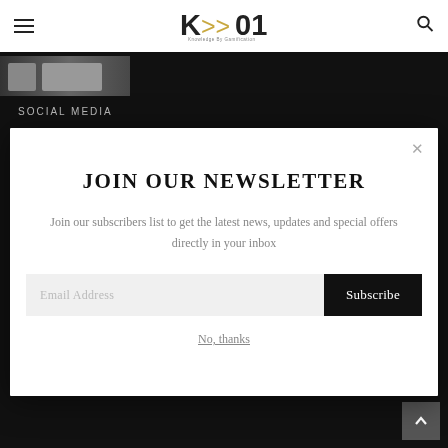KG01 — Knowledge By Gamification
[Figure (screenshot): Small photo thumbnail strip at top left below header]
SOCIAL MEDIA
JOIN OUR NEWSLETTER
Join our subscribers list to get the latest news, updates and special offers directly in your inbox
Email Address
Subscribe
No, thanks